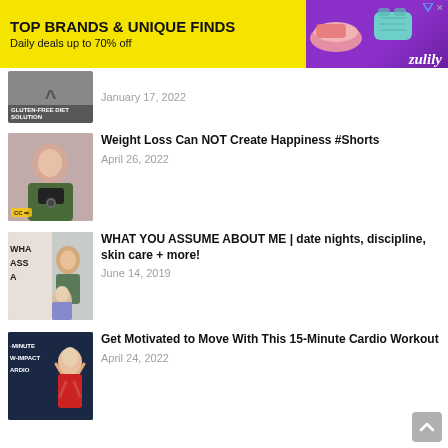[Figure (other): Zulily advertisement banner with yellow background, text 'TOP BRANDS & UNIQUE FINDS' and 'Daily deals up to 70% off', with product images and purple Zulily logo]
January 17, 2022
Weight Loss Can NOT Create Happiness #Shorts
April 26, 2022
WHAT YOU ASSUME ABOUT ME | date nights, discipline, skin care + more!
June 14, 2019
Get Motivated to Move With This 15-Minute Cardio Workout
April 24, 2022